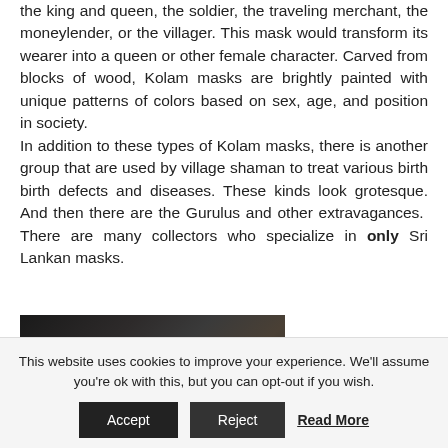the king and queen, the soldier, the traveling merchant, the moneylender, or the villager. This mask would transform its wearer into a queen or other female character. Carved from blocks of wood, Kolam masks are brightly painted with unique patterns of colors based on sex, age, and position in society.
In addition to these types of Kolam masks, there is another group that are used by village shaman to treat various birth birth defects and diseases. These kinds look grotesque. And then there are the Gurulus and other extravagances. There are many collectors who specialize in only Sri Lankan masks.
[Figure (photo): A dark-colored carved mask or wooden object with a gold/yellow accent visible, photographed against a light gray background.]
This website uses cookies to improve your experience. We'll assume you're ok with this, but you can opt-out if you wish.